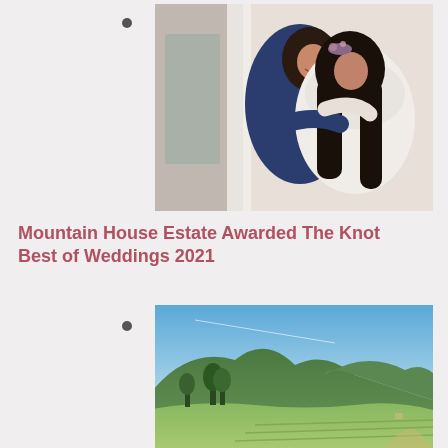[Figure (photo): Two women hugging and smiling, one in a navy blue dress and the other in a white lace wedding gown with long dark hair and a floral headpiece, inside a bright room]
Mountain House Estate Awarded The Knot Best of Weddings 2021
[Figure (photo): Aerial panoramic view of a mountain estate with rolling green hills, vineyards or fields, trees, and a blue sky with a mountain in the background]